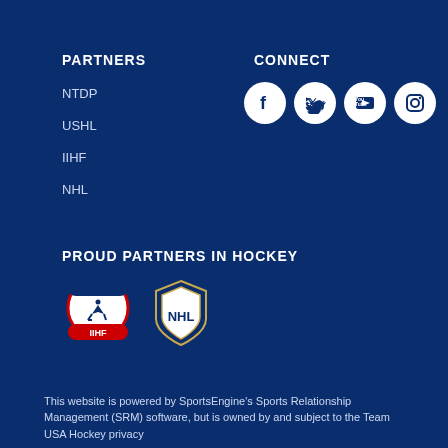PARTNERS
CONNECT
NTDP
USHL
IIHF
NHL
[Figure (infographic): Social media icons: Facebook, Twitter, YouTube, Instagram]
PROUD PARTNERS IN HOCKEY
[Figure (logo): IIHF logo with hockey player and IIHF text]
[Figure (logo): NHL shield logo]
This website is powered by SportsEngine's Sports Relationship Management (SRM) software, but is owned by and subject to the Team USA Hockey privacy